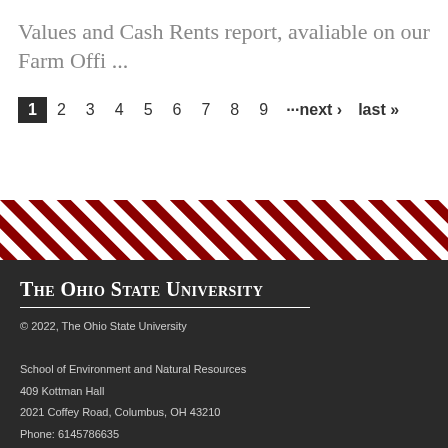Values and Cash Rents report, avaliable on our Farm Offi ...
1 2 3 4 5 6 7 8 9 ···next › last »
[Figure (illustration): Diagonal red and white striped decorative band]
The Ohio State University
© 2022, The Ohio State University
School of Environment and Natural Resources
409 Kottman Hall
2021 Coffey Road, Columbus, OH 43210
Phone: 6145786635
Email: whitacre.39@osu.edu